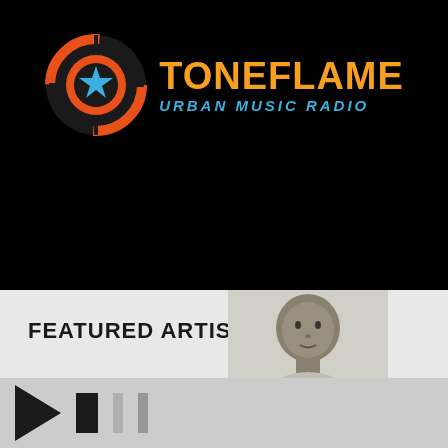[Figure (logo): Toneflame Urban Music Radio logo: circular target-like emblem with orange rings and a blue star in center, with 'TONEFLAME' in orange and 'URBAN MUSIC RADIO' in blue stencil text]
FEATURED ARTISTS
[Figure (photo): Black and white photo of a male artist, head and shoulders visible, light background]
[Figure (other): Media player controls: play triangle button and stop/bar buttons on grey background]